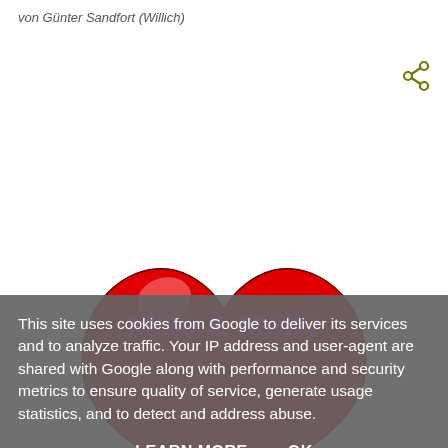von Günter Sandfort (Willich)
[Figure (illustration): Red heart-shaped hot air balloon with 'Mike & Molly' text in magenta and 'sitcomseries.de' in small text below, on white background]
This site uses cookies from Google to deliver its services and to analyze traffic. Your IP address and user-agent are shared with Google along with performance and security metrics to ensure quality of service, generate usage statistics, and to detect and address abuse.
LEARN MORE   OK